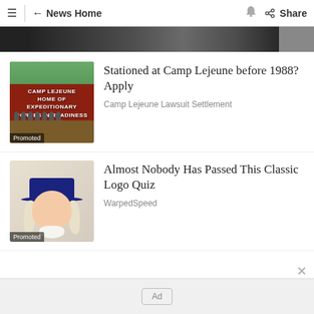≡  ← News Home  🔔  ⬅ Share
[Figure (photo): Partial dark banner image strip at top of content]
[Figure (photo): Camp Lejeune sign with brick wall, trees, and military figures. Promoted label.]
Stationed at Camp Lejeune before 1988? Apply
Camp Lejeune Lawsuit Settlement
[Figure (illustration): Quaker Oats man illustration - man with colonial hat and white wig. Promoted label.]
Almost Nobody Has Passed This Classic Logo Quiz
WarpedSpeed
Ad